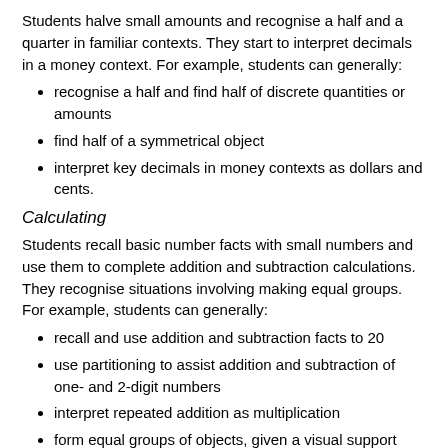Students halve small amounts and recognise a half and a quarter in familiar contexts. They start to interpret decimals in a money context. For example, students can generally:
recognise a half and find half of discrete quantities or amounts
find half of a symmetrical object
interpret key decimals in money contexts as dollars and cents.
Calculating
Students recall basic number facts with small numbers and use them to complete addition and subtraction calculations. They recognise situations involving making equal groups. For example, students can generally:
recall and use addition and subtraction facts to 20
use partitioning to assist addition and subtraction of one- and 2-digit numbers
interpret repeated addition as multiplication
form equal groups of objects, given a visual support